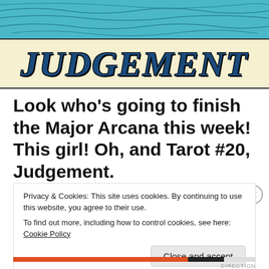[Figure (illustration): Tarot card illustration showing 'JUDGEMENT' text on a cream banner against a teal/blue water background with wavy lines]
Look who’s going to finish the Major Arcana this week! This girl! Oh, and Tarot #20, Judgement.
Privacy & Cookies: This site uses cookies. By continuing to use this website, you agree to their use.
To find out more, including how to control cookies, see here: Cookie Policy
Close and accept